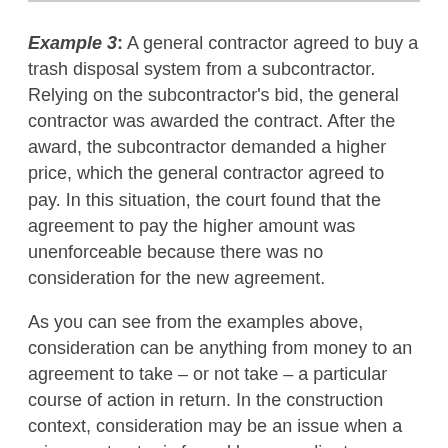Example 3: A general contractor agreed to buy a trash disposal system from a subcontractor. Relying on the subcontractor's bid, the general contractor was awarded the contract. After the award, the subcontractor demanded a higher price, which the general contractor agreed to pay. In this situation, the court found that the agreement to pay the higher amount was unenforceable because there was no consideration for the new agreement.
As you can see from the examples above, consideration can be anything from money to an agreement to take – or not take – a particular course of action in return. In the construction context, consideration may be an issue when a prime contractor is forced by a supplier to pay more than the existing contract amount with the supplier for a given item.